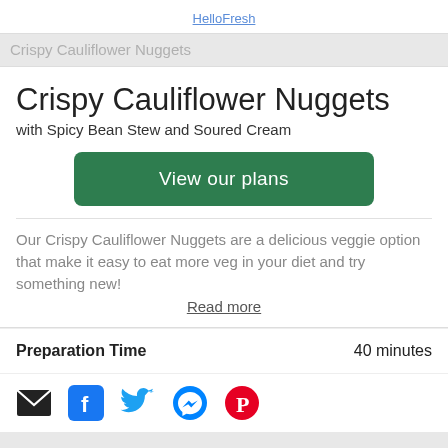HelloFresh
Crispy Cauliflower Nuggets
Crispy Cauliflower Nuggets
with Spicy Bean Stew and Soured Cream
View our plans
Our Crispy Cauliflower Nuggets are a delicious veggie option that make it easy to eat more veg in your diet and try something new!
Read more
Preparation Time   40 minutes
[Figure (other): Social media share icons: email, Facebook, Twitter, Messenger, Pinterest]